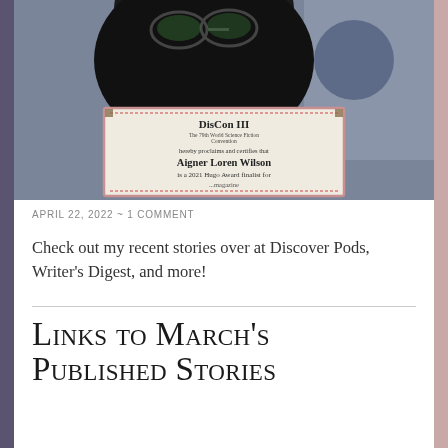[Figure (photo): A person holding up a DisCon III Hugo Award finalist certificate. The certificate reads: 'DisCon III, The 79th World Science Fiction Convention, hereby proclaims and certifies that Aigner Loren Wilson is a 2021 Hugo Award finalist for [magazine]']
APRIL 22, 2022  ~  1 COMMENT
Check out my recent stories over at Discover Pods, Writer's Digest, and more!
Links to March's Published Stories